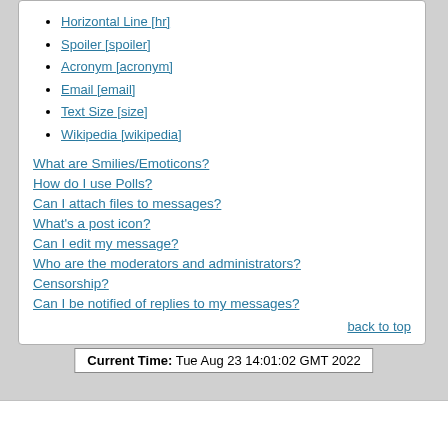Horizontal Line [hr]
Spoiler [spoiler]
Acronym [acronym]
Email [email]
Text Size [size]
Wikipedia [wikipedia]
What are Smilies/Emoticons?
How do I use Polls?
Can I attach files to messages?
What's a post icon?
Can I edit my message?
Who are the moderators and administrators?
Censorship?
Can I be notified of replies to my messages?
back to top
Current Time: Tue Aug 23 14:01:02 GMT 2022
FUDFORUM POWERED | Supported by Virtuozzo